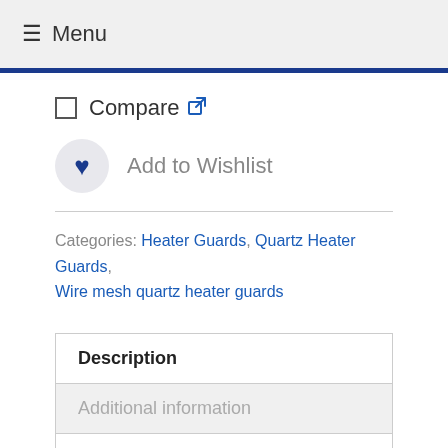≡ Menu
Compare
Add to Wishlist
Categories: Heater Guards, Quartz Heater Guards, Wire mesh quartz heater guards
| Description |
| Additional information |
Description